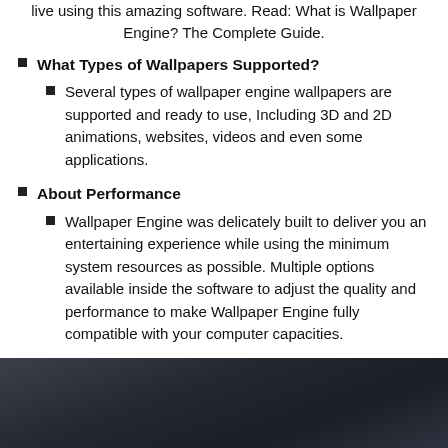live using this amazing software. Read: What is Wallpaper Engine? The Complete Guide.
What Types of Wallpapers Supported?
Several types of wallpaper engine wallpapers are supported and ready to use, Including 3D and 2D animations, websites, videos and even some applications.
About Performance
Wallpaper Engine was delicately built to deliver you an entertaining experience while using the minimum system resources as possible. Multiple options available inside the software to adjust the quality and performance to make Wallpaper Engine fully compatible with your computer capacities.
[Figure (photo): Dark atmospheric photo at the bottom of the page, showing a dimly lit scene with dark grey and blue tones.]